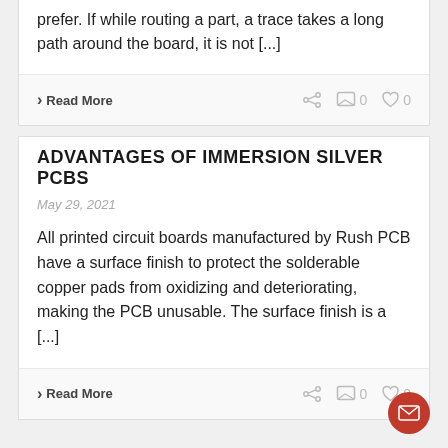prefer. If while routing a part, a trace takes a long path around the board, it is not [...]
Read More
ADVANTAGES OF IMMERSION SILVER PCBS
May 29, 2021
All printed circuit boards manufactured by Rush PCB have a surface finish to protect the solderable copper pads from oxidizing and deteriorating, making the PCB unusable. The surface finish is a [...]
Read More